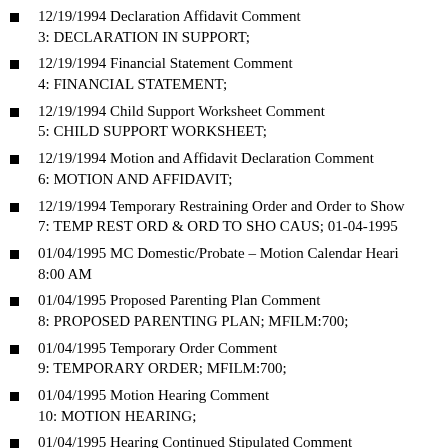12/19/1994 Declaration Affidavit Comment 3: DECLARATION IN SUPPORT;
12/19/1994 Financial Statement Comment 4: FINANCIAL STATEMENT;
12/19/1994 Child Support Worksheet Comment 5: CHILD SUPPORT WORKSHEET;
12/19/1994 Motion and Affidavit Declaration Comment 6: MOTION AND AFFIDAVIT;
12/19/1994 Temporary Restraining Order and Order to Show 7: TEMP REST ORD & ORD TO SHO CAUS; 01-04-1995
01/04/1995 MC Domestic/Probate – Motion Calendar Heari 8:00 AM
01/04/1995 Proposed Parenting Plan Comment 8: PROPOSED PARENTING PLAN; MFILM:700;
01/04/1995 Temporary Order Comment 9: TEMPORARY ORDER; MFILM:700;
01/04/1995 Motion Hearing Comment 10: MOTION HEARING;
01/04/1995 Hearing Continued Stipulated Comment